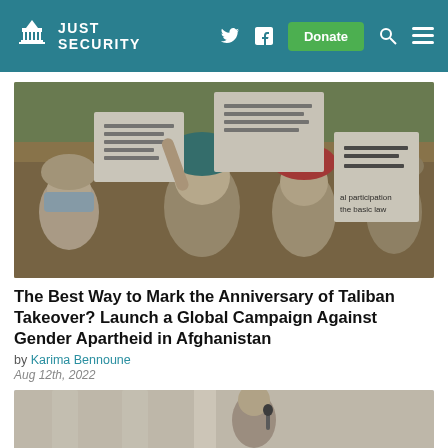Just Security — navigation bar with logo, Twitter, Facebook, Donate button, search and menu icons
[Figure (photo): Women protesters in Afghanistan holding signs with Arabic/Dari text and text reading 'political participation' and 'basic law', wearing headscarves and masks]
The Best Way to Mark the Anniversary of Taliban Takeover? Launch a Global Campaign Against Gender Apartheid in Afghanistan
by Karima Bennoune
Aug 12th, 2022
[Figure (photo): Partial view of a person speaking at a microphone in front of a columned building (cropped)]